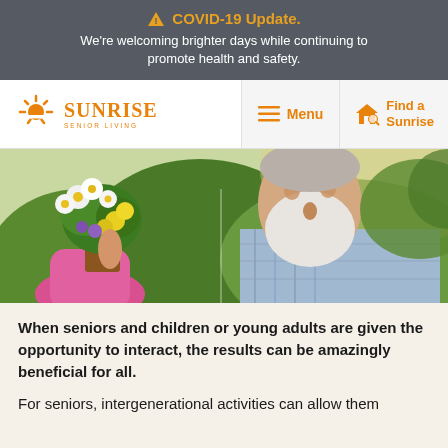⚠ COVID-19 Update. We're welcoming brighter days while continuing to promote health and safety.
[Figure (logo): Sunrise Senior Living logo with sun rays icon in orange]
Menu
Find a Sunrise
[Figure (photo): A child holding a pot of colorful flowers (daisies, yellow and purple blooms) alongside an elderly man with a white beard looking at the flowers outdoors.]
When seniors and children or young adults are given the opportunity to interact, the results can be amazingly beneficial for all.
For seniors, intergenerational activities can allow them